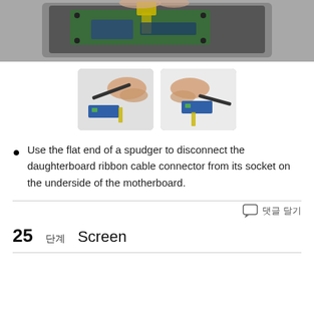[Figure (photo): Top photo showing a tablet device being disassembled, motherboard visible with ribbon cables and components exposed.]
[Figure (photo): Left thumbnail: hands using a spudger tool to disconnect a daughterboard ribbon cable connector.]
[Figure (photo): Right thumbnail: hands holding the disconnected ribbon cable after removal.]
Use the flat end of a spudger to disconnect the daughterboard ribbon cable connector from its socket on the underside of the motherboard.
댓글 달기
25 단계   Screen